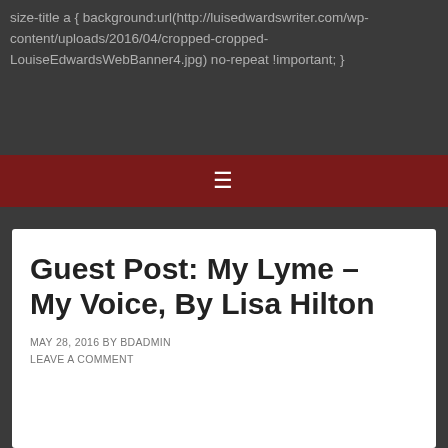size-title a { background:url(http://luisedwardswriter.com/wp-content/uploads/2016/04/cropped-cropped-LouiseEdwardsWebBanner4.jpg) no-repeat !important; }
[Figure (other): Navigation bar with hamburger menu icon (three horizontal lines) on dark red background]
Guest Post: My Lyme – My Voice, By Lisa Hilton
MAY 28, 2016 BY BDADMIN
LEAVE A COMMENT